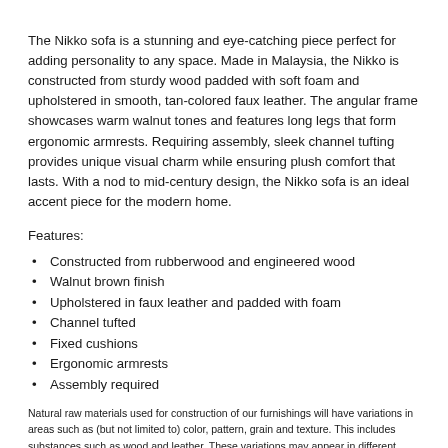The Nikko sofa is a stunning and eye-catching piece perfect for adding personality to any space. Made in Malaysia, the Nikko is constructed from sturdy wood padded with soft foam and upholstered in smooth, tan-colored faux leather. The angular frame showcases warm walnut tones and features long legs that form ergonomic armrests. Requiring assembly, sleek channel tufting provides unique visual charm while ensuring plush comfort that lasts. With a nod to mid-century design, the Nikko sofa is an ideal accent piece for the modern home.
Features:
Constructed from rubberwood and engineered wood
Walnut brown finish
Upholstered in faux leather and padded with foam
Channel tufted
Fixed cushions
Ergonomic armrests
Assembly required
Natural raw materials used for construction of our furnishings will have variations in areas such as (but not limited to) color, pattern, grain and texture. This includes substances such as wood and leather. These variations may appear in different surfaces of a single item, an area of a product where compared with the item, you may notice variations between different surfaces of different